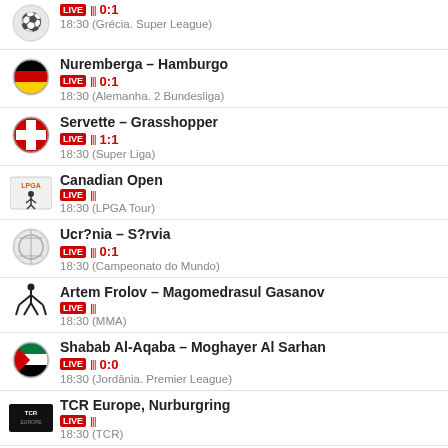LIVE 0:1 18:30 (Grécia. Super League)
Nuremberga – Hamburgo LIVE 0:1 18:30 (Alemanha. 2 Bundesliga)
Servette – Grasshopper LIVE 1:1 18:30 (Super Liga)
Canadian Open LIVE 18:30 (LPGA Tour)
Ucr?nia – S?rvia LIVE 0:1 18:30 (Campeonato do Mundo)
Artem Frolov – Magomedrasul Gasanov LIVE 18:30 (MMA)
Shabab Al-Aqaba – Moghayer Al Sarhan LIVE 0:0 18:30 (Jordânia. Premier League)
TCR Europe, Nurburgring LIVE 18:30 (TCR)
It?lia – Ge?rgia LIVE 42:34 18:30 (Europa)
Tunisia – Senegal LIVE 40:33 18:30 (Africa)
Hungria (M) – Grécia (M)